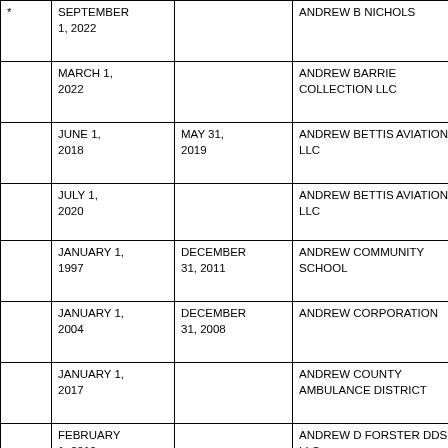|  | START DATE | END DATE | ENTITY NAME |
| --- | --- | --- | --- |
| * | SEPTEMBER 1, 2022 |  | ANDREW B NICHOLS |
|  | MARCH 1, 2022 |  | ANDREW BARRIE COLLECTION LLC |
|  | JUNE 1, 2018 | MAY 31, 2019 | ANDREW BETTIS AVIATION LLC |
|  | JULY 1, 2020 |  | ANDREW BETTIS AVIATION LLC |
|  | JANUARY 1, 1997 | DECEMBER 31, 2011 | ANDREW COMMUNITY SCHOOL |
|  | JANUARY 1, 2004 | DECEMBER 31, 2008 | ANDREW CORPORATION |
|  | JANUARY 1, 2017 |  | ANDREW COUNTY AMBULANCE DISTRICT |
|  | FEBRUARY 1, 2019 |  | ANDREW D FORSTER DDS LLC |
|  | SEPTEMBER 1, 2018 |  | ANDREW FARKAS DDS PA |
|  | JANUARY 1, ... |  | ANDREW GENERAL ... |